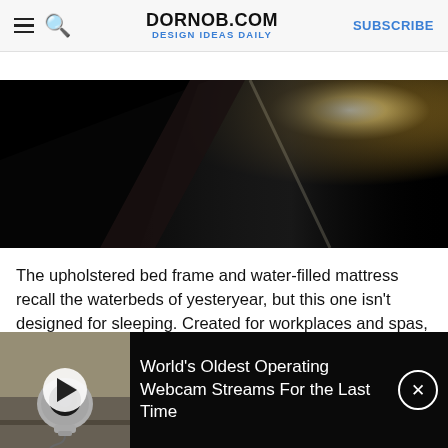DORNOB.COM | DESIGN IDEAS DAILY | SUBSCRIBE
[Figure (photo): Dark close-up photo of an upholstered bed frame or mattress edge with a bright light source visible in the upper right, dramatic shadow contrast]
The upholstered bed frame and water-filled mattress recall the waterbeds of yesteryear, but this one isn't designed for sleeping. Created for workplaces and spas, it not only offers a relaxing place to take a break from the stress of everyday life, but also an
[Figure (screenshot): Video overlay at bottom of page showing a webcam device thumbnail with play button on left, and text 'World's Oldest Operating Webcam Streams For the Last Time' on right with close button]